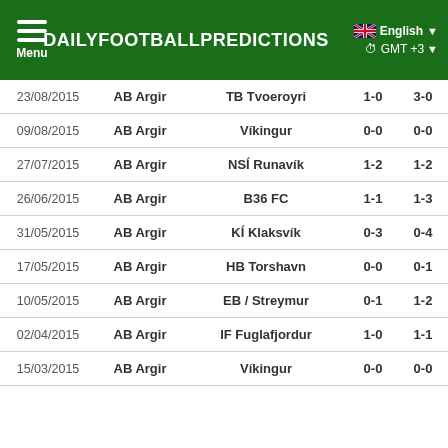DAILYFOOTBALLPREDICTIONS | Menu | English | GMT+3
| Date | Home | Away | HT | FT |
| --- | --- | --- | --- | --- |
| 23/08/2015 | AB Argir | TB Tvoeroyri | 1-0 | 3-0 |
| 09/08/2015 | AB Argir | Víkingur | 0-0 | 0-0 |
| 27/07/2015 | AB Argir | NSÍ Runavík | 1-2 | 1-2 |
| 26/06/2015 | AB Argir | B36 FC | 1-1 | 1-3 |
| 31/05/2015 | AB Argir | KÍ Klaksvík | 0-3 | 0-4 |
| 17/05/2015 | AB Argir | HB Torshavn | 0-0 | 0-1 |
| 10/05/2015 | AB Argir | EB / Streymur | 0-1 | 1-2 |
| 02/04/2015 | AB Argir | IF Fuglafjordur | 1-0 | 1-1 |
| 15/03/2015 | AB Argir | Víkingur | 0-0 | 0-0 |